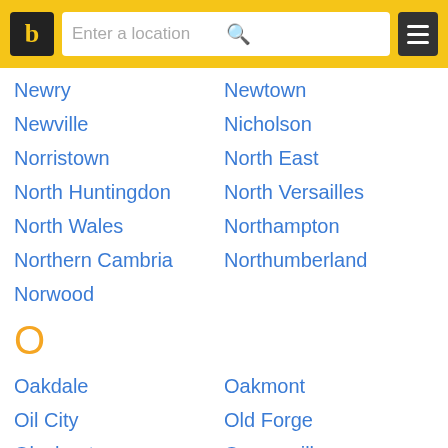b | Enter a location
Newry
Newtown
Newville
Nicholson
Norristown
North East
North Huntingdon
North Versailles
North Wales
Northampton
Northern Cambria
Northumberland
Norwood
O
Oakdale
Oakmont
Oil City
Old Forge
Olyphant
Orangeville
Orwigsburg
Osceola
Oxford
P